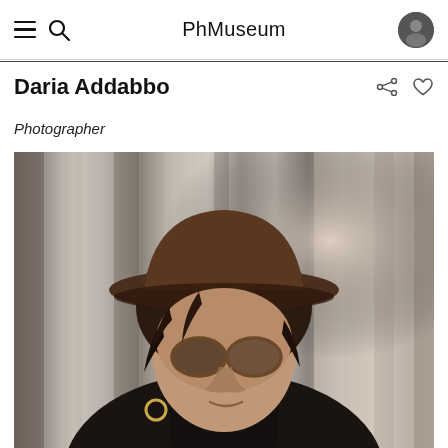PhMuseum
Daria Addabbo
Photographer
[Figure (photo): Portrait photograph of Daria Addabbo, a woman wearing a dark brown wide-brim hat and black turtleneck, with curly dark hair and round glasses, photographed against a soft light curtain background. She is looking slightly upward and to the side with a neutral expression. She wears a gold hoop earring.]